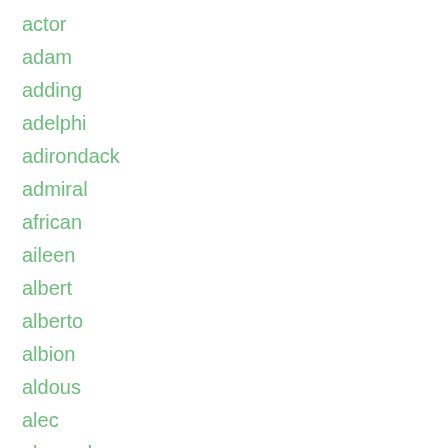actor
adam
adding
adelphi
adirondack
admiral
african
aileen
albert
alberto
albion
aldous
alec
alexander
alexandre
alexis